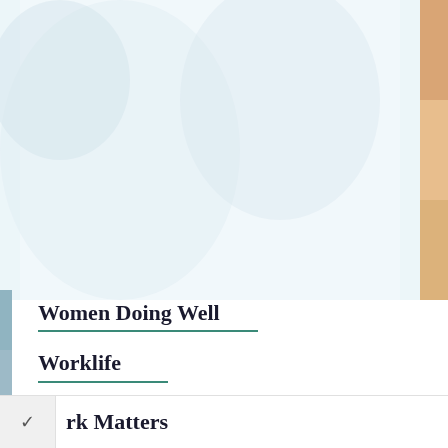[Figure (photo): Blurred photo collage strip across the top of the page showing people, with warm tones on the right edge]
Women Doing Well
Worklife
rk Matters